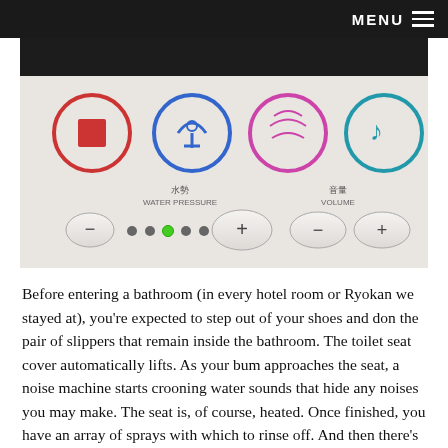MENU
[Figure (photo): Close-up photograph of a Japanese toilet control panel showing buttons with icons for different wash functions, water pressure controls with dots and a green LED indicator, volume controls with Chinese characters (音量 VOLUME and 水勢 WATER PRESSURE), plus and minus buttons, all on a white plastic panel.]
Before entering a bathroom (in every hotel room or Ryokan we stayed at), you're expected to step out of your shoes and don the pair of slippers that remain inside the bathroom. The toilet seat cover automatically lifts. As your bum approaches the seat, a noise machine starts crooning water sounds that hide any noises you may make. The seat is, of course, heated. Once finished, you have an array of sprays with which to rinse off. And then there's the dryer.
Toilet-ing like everything else in Japan, I discovered, is